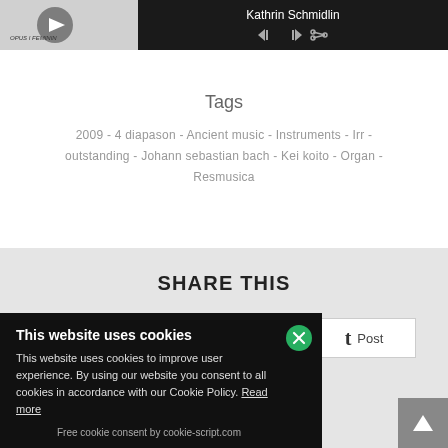[Figure (screenshot): Music player bar with album thumbnail showing OPUS I FEMININ text, play/skip controls on dark background, and artist name Kathrin Schmidlin]
Tags
2009 - 4 diapason - Ancient music - Instruments - Irr - outstanding - Johann sebastian bach - Kei koito - Organ - Resmusica
SHARE THIS
[Figure (screenshot): Tumblr Post button (white rectangle with t icon and Post text)]
[Figure (screenshot): Scroll-to-top button (grey square with upward arrow)]
This website uses cookies
This website uses cookies to improve user experience. By using our website you consent to all cookies in accordance with our Cookie Policy. Read more
Free cookie consent by cookie-script.com